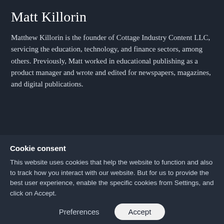Matt Killorin
Matthew Killorin is the founder of Cottage Industry Content LLC, servicing the education, technology, and finance sectors, among others. Previously, Matt worked in educational publishing as a product manager and wrote and edited for newspapers, magazines, and digital publications.
Cookie consent
This website uses cookies that help the website to function and also to track how you interact with our website. But for us to provide the best user experience, enable the specific cookies from Settings, and click on Accept.
Preferences
Accept